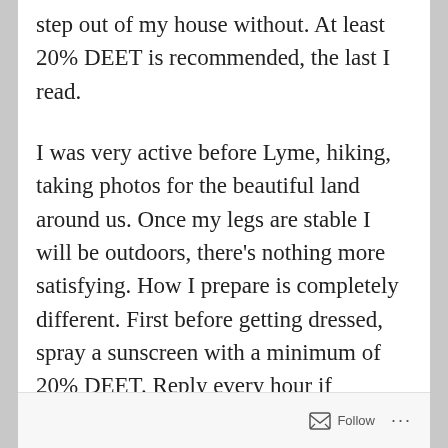step out of my house without. At least 20% DEET is recommended, the last I read.
I was very active before Lyme, hiking, taking photos for the beautiful land around us. Once my legs are stable I will be outdoors, there's nothing more satisfying. How I prepare is completely different. First before getting dressed, spray a sunscreen with a minimum of 20% DEET. Reply every hour if sweating or in heavy wooded ares. Wear white soaks with your pant leg tucked in light-colored pants. Wear a white or light colored shirt, a hat that is longer in back to cover your neck. Be vigilant with your kids, going is back yard to play, better spray.
Follow